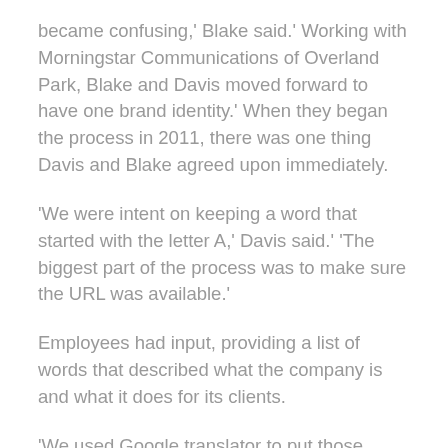became confusing,' Blake said.' Working with Morningstar Communications of Overland Park, Blake and Davis moved forward to have one brand identity.' When they began the process in 2011, there was one thing Davis and Blake agreed upon immediately.
'We were intent on keeping a word that started with the letter A,' Davis said.' 'The biggest part of the process was to make sure the URL was available.'
Employees had input, providing a list of words that described what the company is and what it does for its clients.
'We used Google translator to put those words of who we are into Latin and came up with Acendas, which means to help move forward,' Blake said.